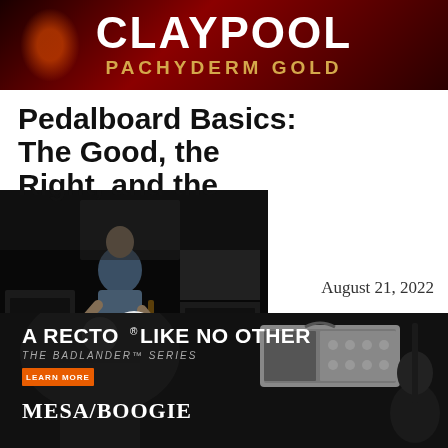[Figure (illustration): Claypool Pachyderm Gold banner with red/dark background and gold text]
Pedalboard Basics: The Good, the Right, and the
[Figure (screenshot): Video thumbnail showing a guitarist playing in a room with amplifiers, with a white play button overlay]
August 21, 2022
[Figure (illustration): Gold ornate frame partial view]
[Figure (advertisement): Mesa/Boogie A RECTO LIKE NO OTHER - THE BADLANDER SERIES advertisement with amp image and guitar]